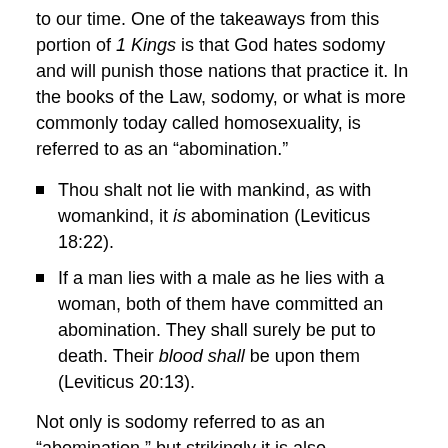to our time.  One of the takeaways from this portion of 1 Kings is that God hates sodomy and will punish those nations that practice it.  In the books of the Law, sodomy, or what is more commonly today called homosexuality, is referred to as an “abomination.”
Thou shalt not lie with mankind, as with womankind, it is abomination (Leviticus 18:22).
If a man lies with a male as he lies with a woman, both of them have committed an abomination.  They shall surely be put to death.  Their blood shall be upon them (Leviticus 20:13).
Not only is sodomy referred to as an “abomination,” but strikingly it is also considered a capital crime in the Law of Moses.  This is likely the origin of sodomy laws in the United States.  According to one article from a pro-sodomy